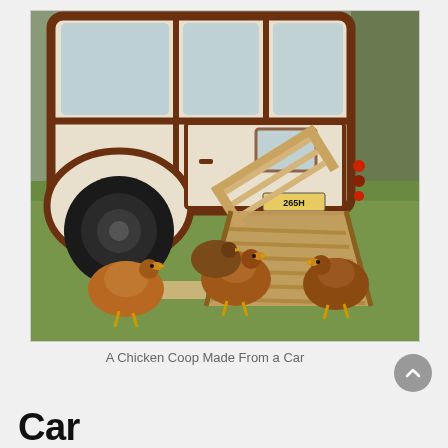[Figure (photo): A vintage-style woody wagon car converted into a chicken coop. The rear of the car is visible with brown wood paneling and cream body. A wooden ramp/ladder extends from the rear door down to the grass. Four brown chickens are on the grass near the ramp. A license plate reads 265H. The car is parked on green grass with trees/fence in background.]
A Chicken Coop Made From a Car
Car